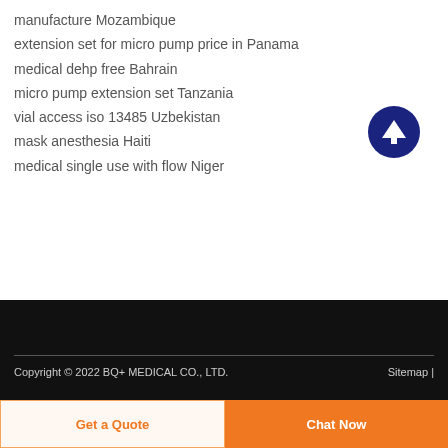manufacture Mozambique
extension set for micro pump price in Panama
medical dehp free Bahrain
micro pump extension set Tanzania
vial access iso 13485 Uzbekistan
mask anesthesia Haiti
medical single use with flow Niger
Copyright © 2022 BQ+ MEDICAL CO., LTD.   Sitemap |
Get a Quote
Chat Now